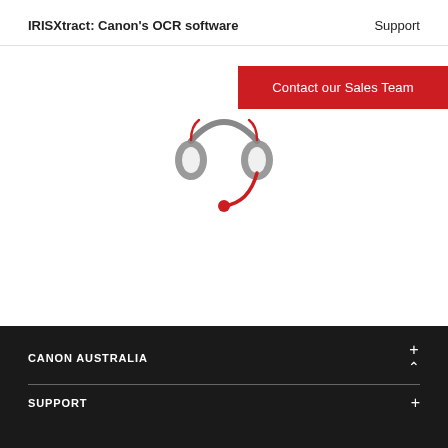IRISXtract: Canon's OCR software    Support
[Figure (illustration): Red button labeled 'Contact our Sales Team' positioned top right, with a headset icon below showing grey ear cups, arc, and red microphone dot]
Call 13 13 83
CANON AUSTRALIA
SUPPORT